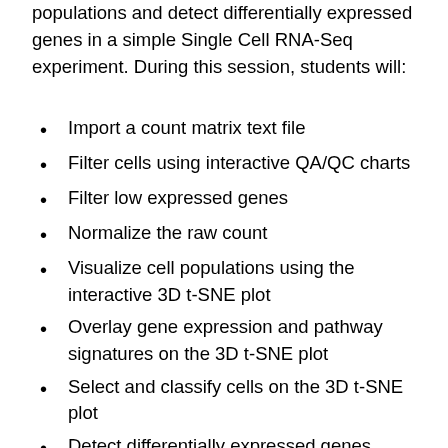populations and detect differentially expressed genes in a simple Single Cell RNA-Seq experiment. During this session, students will:
Import a count matrix text file
Filter cells using interactive QA/QC charts
Filter low expressed genes
Normalize the raw count
Visualize cell populations using the interactive 3D t-SNE plot
Overlay gene expression and pathway signatures on the 3D t-SNE plot
Select and classify cells on the 3D t-SNE plot
Detect differentially expressed genes between sub populations
Filter a gene list
Identify enriched KEGG pathway and/or GO terms
Visualize cell-level results using heat maps